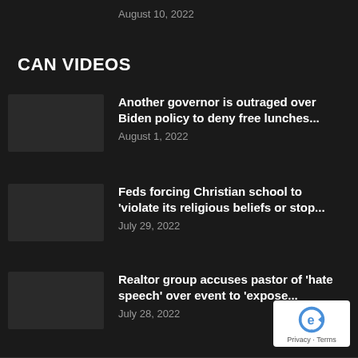August 10, 2022
CAN VIDEOS
Another governor is outraged over Biden policy to deny free lunches...
August 1, 2022
Feds forcing Christian school to 'violate its religious beliefs or stop...
July 29, 2022
Realtor group accuses pastor of 'hate speech' over event to 'expose...
July 28, 2022